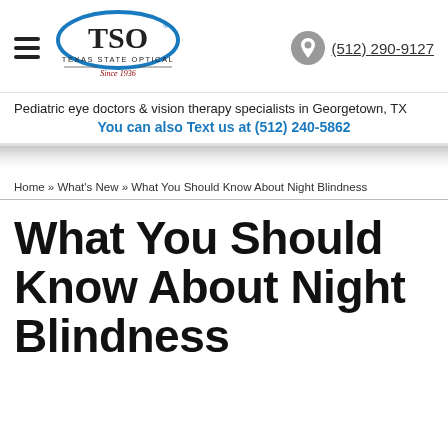[Figure (logo): Texas State Optical (TSO) logo with oval shape and text 'Texas State Optical Since 1936']
(512) 290-9127
Pediatric eye doctors & vision therapy specialists in Georgetown, TX
You can also Text us at (512) 240-5862
Home » What's New » What You Should Know About Night Blindness
What You Should Know About Night Blindness